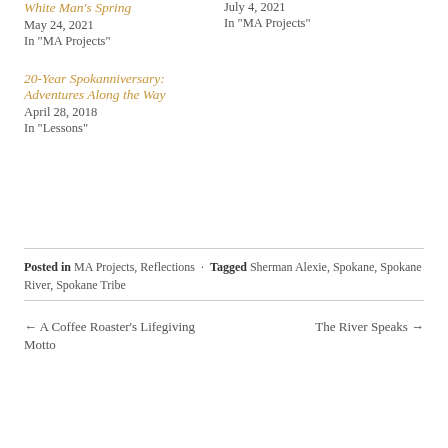White Man's Spring
May 24, 2021
In "MA Projects"
July 4, 2021
In "MA Projects"
20-Year Spokanniversary: Adventures Along the Way
April 28, 2018
In "Lessons"
Posted in MA Projects, Reflections · Tagged Sherman Alexie, Spokane, Spokane River, Spokane Tribe
← A Coffee Roaster's Lifegiving Motto
The River Speaks →